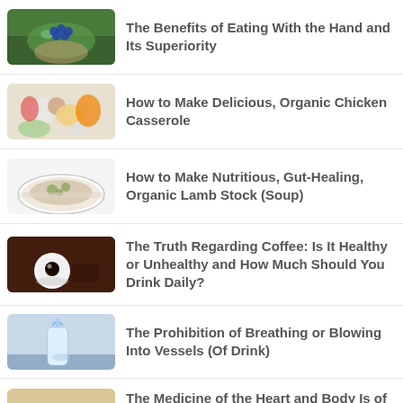The Benefits of Eating With the Hand and Its Superiority
How to Make Delicious, Organic Chicken Casserole
How to Make Nutritious, Gut-Healing, Organic Lamb Stock (Soup)
The Truth Regarding Coffee: Is It Healthy or Unhealthy and How Much Should You Drink Daily?
The Prohibition of Breathing or Blowing Into Vessels (Of Drink)
The Medicine of the Heart and Body Is of Three Types and the Heart's Health Is a Foundation for the Body's Health